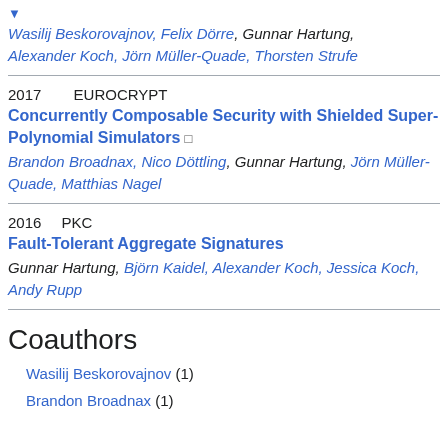▼ Wasilij Beskorovajnov, Felix Dörre, Gunnar Hartung, Alexander Koch, Jörn Müller-Quade, Thorsten Strufe
2017   EUROCRYPT
Concurrently Composable Security with Shielded Super-Polynomial Simulators  □
Brandon Broadnax, Nico Döttling, Gunnar Hartung, Jörn Müller-Quade, Matthias Nagel
2016   PKC
Fault-Tolerant Aggregate Signatures
Gunnar Hartung, Björn Kaidel, Alexander Koch, Jessica Koch, Andy Rupp
Coauthors
Wasilij Beskorovajnov (1)
Brandon Broadnax (1)